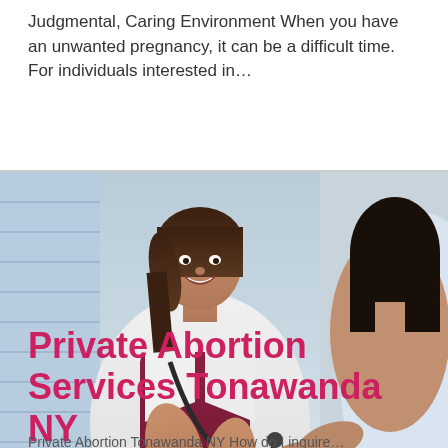Judgmental, Caring Environment When you have an unwanted pregnancy, it can be a difficult time. For individuals interested in…
[Figure (photo): A smiling female doctor in a white coat with stethoscope holding hands with a seated female patient in a hospital gown in a clinical setting]
Private Abortion Services Tonawanda NY
Private Abortion Tonawanda NY How do I inquire…